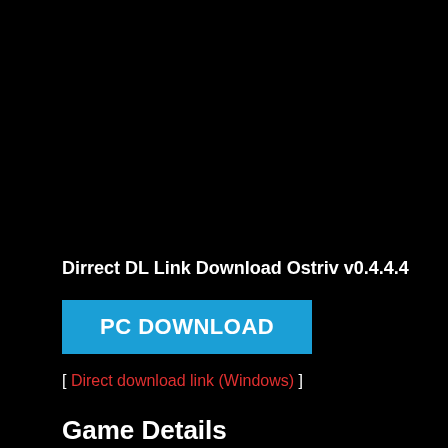Dirrect DL Link Download Ostriv v0.4.4.4
[Figure (other): Blue PC DOWNLOAD button]
[ Direct download link (Windows) ]
Game Details